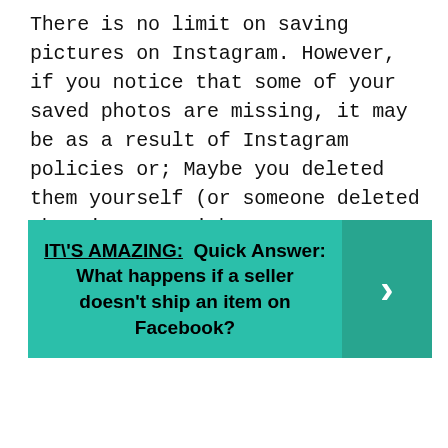There is no limit on saving pictures on Instagram. However, if you notice that some of your saved photos are missing, it may be as a result of Instagram policies or; Maybe you deleted them yourself (or someone deleted the pictures without your consent) and didn't reach any limit.
[Figure (infographic): Teal banner with bold text reading 'IT\'S AMAZING: Quick Answer: What happens if a seller doesn't ship an item on Facebook?' with a dark teal right panel containing a white right-arrow chevron.]